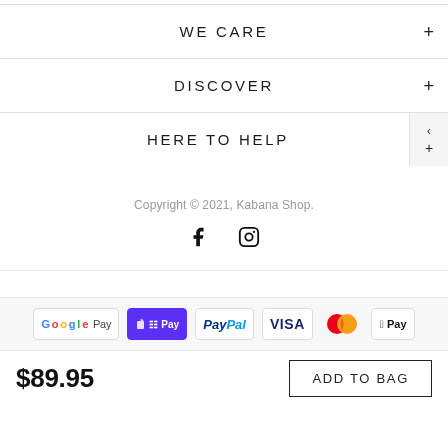WE CARE
DISCOVER
HERE TO HELP
Copyright © 2021, Kabana Shop.
[Figure (illustration): Social media icons: Facebook (f) and Instagram camera icon]
[Figure (illustration): Payment method badges: Google Pay, Shopify Pay, PayPal, Visa, Mastercard, Apple Pay]
$89.95
ADD TO BAG